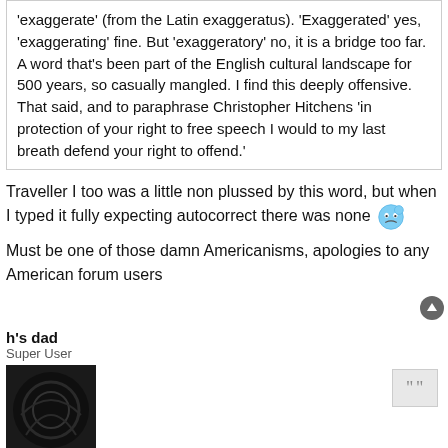'exaggerate' (from the Latin exaggeratus). 'Exaggerated' yes, 'exaggerating' fine. But 'exaggeratory' no, it is a bridge too far. A word that's been part of the English cultural landscape for 500 years, so casually mangled. I find this deeply offensive. That said, and to paraphrase Christopher Hitchens 'in protection of your right to free speech I would to my last breath defend your right to offend.'
Traveller I too was a little non plussed by this word, but when I typed it fully expecting autocorrect there was none 😒
Must be one of those damn Americanisms, apologies to any American forum users
h's dad
Super User
[Figure (photo): Dark avatar image with circular design]
RE: EXETER CHIEFS